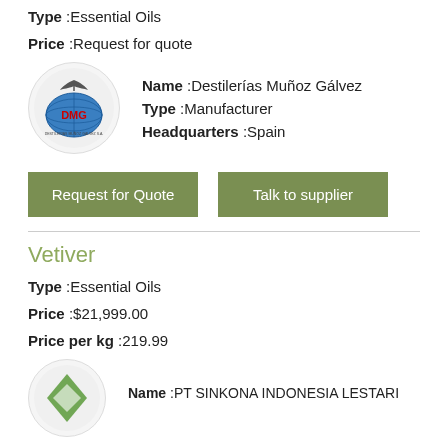Type :Essential Oils
Price :Request for quote
[Figure (logo): DMG (Destilerías Muñoz Gálvez) circular logo with globe and eagle]
Name :Destilerías Muñoz Gálvez
Type :Manufacturer
Headquarters :Spain
Request for Quote
Talk to supplier
Vetiver
Type :Essential Oils
Price :$21,999.00
Price per kg :219.99
[Figure (logo): PT SINKONA INDONESIA LESTARI logo, partially visible at bottom]
Name :PT SINKONA INDONESIA LESTARI